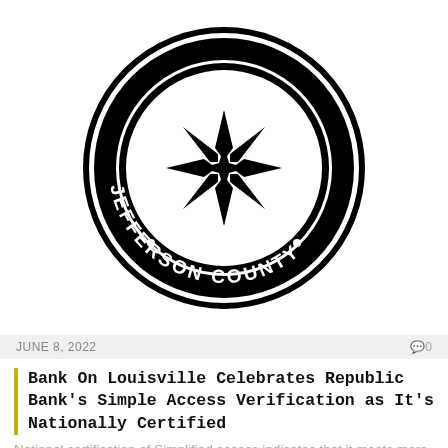[Figure (logo): Jefferson County official seal – black and white circular badge with text JEFFERSON COUNTY and decorative star/cross emblem in center]
JUNE 8, 2022
0
Bank On Louisville Celebrates Republic Bank's Simple Access Verification as It's Nationally Certified
National certification of Simplified access indicates that it meets more than 25 features for safe...
BANKING SERVICES
[Figure (logo): Five Star Bank logo – blue and gray star icon on left, text 'Five Star Bank' in bold on right with tagline 'Banking | Investment | Insurance']